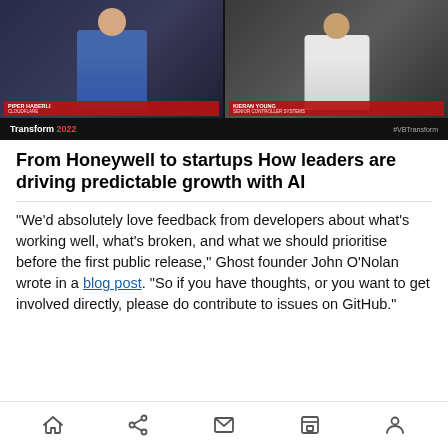[Figure (screenshot): Video thumbnail showing two people in a video call. Left person is a woman in a blue outfit. Right person is a man in a white shirt. Both have red name bars beneath them. Bottom bar shows 'Transform 2022' branding.]
From Honeywell to startups How leaders are driving predictable growth with AI
“We’d absolutely love feedback from developers about what’s working well, what’s broken, and what we should prioritise before the first public release,” Ghost founder John O’Nolan wrote in a blog post. “So if you have thoughts, or you want to get involved directly, please do contribute to issues on GitHub.”